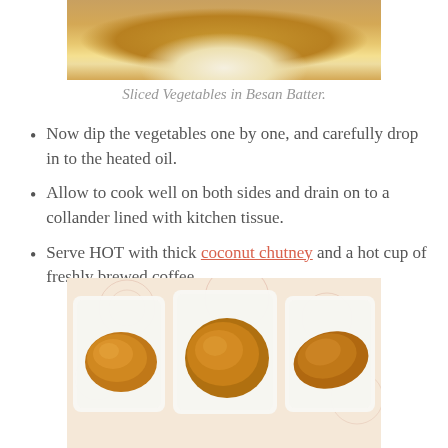[Figure (photo): Close-up photo of sliced vegetables coated in besan (chickpea) batter, showing glistening battered vegetables from above]
Sliced Vegetables in Besan Batter.
Now dip the vegetables one by one, and carefully drop in to the heated oil.
Allow to cook well on both sides and drain on to a collander lined with kitchen tissue.
Serve HOT with thick coconut chutney and a hot cup of freshly brewed coffee.
[Figure (photo): Three golden-brown deep-fried vegetable fritters (pakoras/bhajiyas) each served on a separate white square plate, arranged on a floral patterned tablecloth]